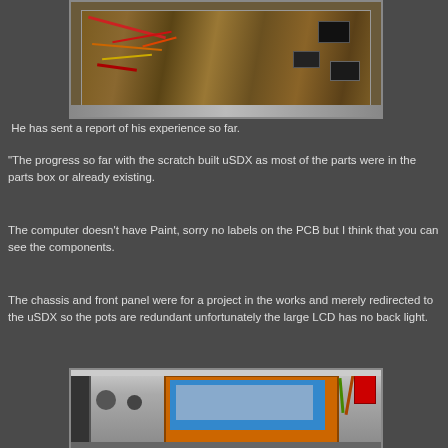[Figure (photo): Top-down view of a scratch-built uSDX PCB with visible components, wires (red, orange, yellow), and chips on a breadboard/PCB assembly inside a metal chassis.]
He has sent a report of his experience so far.
"The progress so far with the scratch built uSDX as most of the parts were in the parts box or already existing.
The computer doesn't have Paint, sorry no labels on the PCB but I think that you can see the components.
The chassis and front panel were for a project in the works and merely redirected to the uSDX so the pots are redundant unfortunately the large LCD has no back light.
[Figure (photo): Photo of the assembled uSDX radio in a chassis with an orange-framed blue LCD display, knobs, and various equipment visible in the background.]